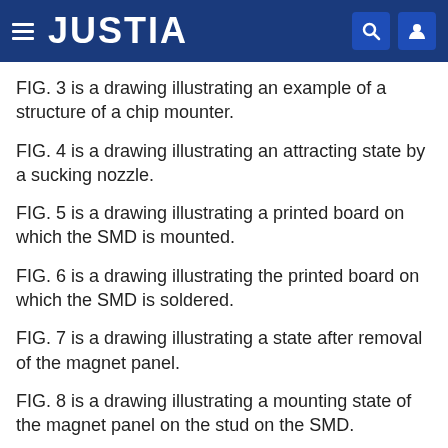JUSTIA
FIG. 3 is a drawing illustrating an example of a structure of a chip mounter.
FIG. 4 is a drawing illustrating an attracting state by a sucking nozzle.
FIG. 5 is a drawing illustrating a printed board on which the SMD is mounted.
FIG. 6 is a drawing illustrating the printed board on which the SMD is soldered.
FIG. 7 is a drawing illustrating a state after removal of the magnet panel.
FIG. 8 is a drawing illustrating a mounting state of the magnet panel on the stud on the SMD.